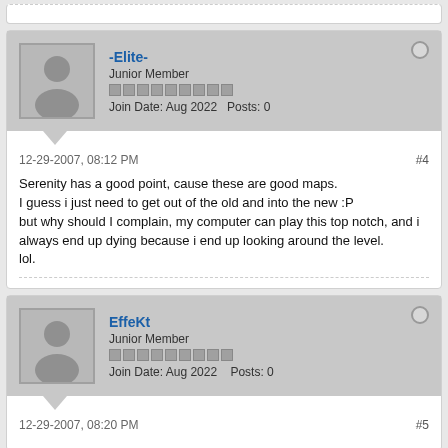-Elite-
Junior Member
Join Date: Aug 2022  Posts: 0
12-29-2007, 08:12 PM  #4
Serenity has a good point, cause these are good maps.
I guess i just need to get out of the old and into the new :P
but why should I complain, my computer can play this top notch, and i always end up dying because i end up looking around the level.
lol.
EffeKt
Junior Member
Join Date: Aug 2022  Posts: 0
12-29-2007, 08:20 PM  #5